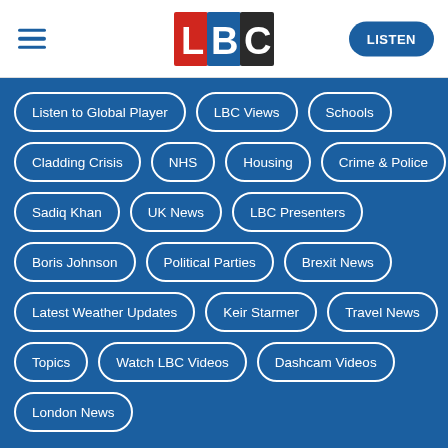[Figure (logo): LBC radio logo with L in red, B in blue, C in black/dark]
Listen to Global Player
LBC Views
Schools
Cladding Crisis
NHS
Housing
Crime & Police
Sadiq Khan
UK News
LBC Presenters
Boris Johnson
Political Parties
Brexit News
Latest Weather Updates
Keir Starmer
Travel News
Topics
Watch LBC Videos
Dashcam Videos
London News